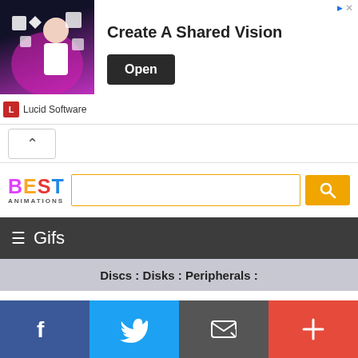[Figure (screenshot): Advertisement banner for Lucid Software with text 'Create A Shared Vision' and Open button]
Lucid Software
[Figure (screenshot): Collapse chevron button]
[Figure (logo): Best Animations logo with colorful letters B-E-S-T]
Discs : Disks : Peripherals :
f
Twitter bird icon
Email icon
+